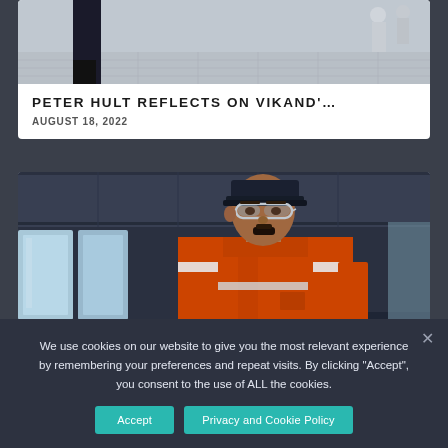[Figure (photo): Partial photo of a person standing on what appears to be a plaza or outdoor area, cropped at the top]
PETER HULT REFLECTS ON VIKAND'…
AUGUST 18, 2022
[Figure (photo): A maritime worker wearing an orange high-visibility jumpsuit and safety glasses stands at the controls in a ship's bridge/wheelhouse]
We use cookies on our website to give you the most relevant experience by remembering your preferences and repeat visits. By clicking "Accept", you consent to the use of ALL the cookies.